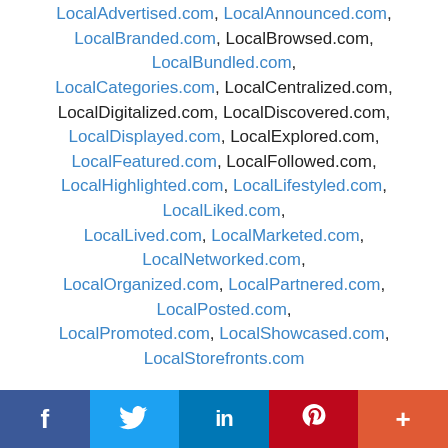LocalAdvertised.com, LocalAnnounced.com, LocalBranded.com, LocalBrowsed.com, LocalBundled.com, LocalCategories.com, LocalCentralized.com, LocalDigitalized.com, LocalDiscovered.com, LocalDisplayed.com, LocalExplored.com, LocalFeatured.com, LocalFollowed.com, LocalHighlighted.com, LocalLifestyled.com, LocalLiked.com, LocalLived.com, LocalMarketed.com, LocalNetworked.com, LocalOrganized.com, LocalPartnered.com, LocalPosted.com, LocalPromoted.com, LocalShowcased.com, LocalStorefronts.com
Locals101.com, LocalsAdvertised.com, LocalsAnnounced.com, LocalsBranded.com, LocalsBrowsed.com, LocalsBundled.com, LocalsCategories.com, LocalsCentralized.com, LocalsDaily.com, LocalsDigitalized.com, LocalsDiscovered.com, LocalsDisplayed.com, LocalsExplored.com, LocalsFeatured.com
f  twitter  in  pinterest  +